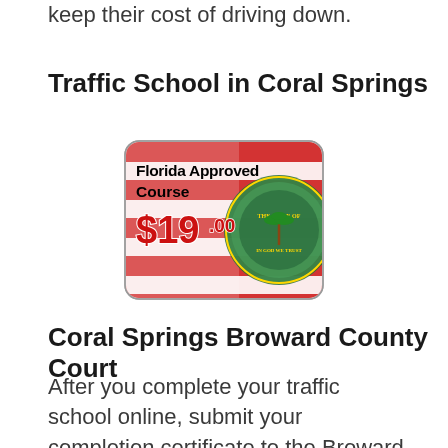keep their cost of driving down.
Traffic School in Coral Springs
[Figure (illustration): Florida Approved Course advertisement badge showing Florida state seal and flag background with text '$19.00']
Coral Springs Broward County Court
After you complete your traffic school online, submit your completion certificate to the Broward county clerk (if you received your citation in Broward County). Make sure to submit the certificate prior to your deadline